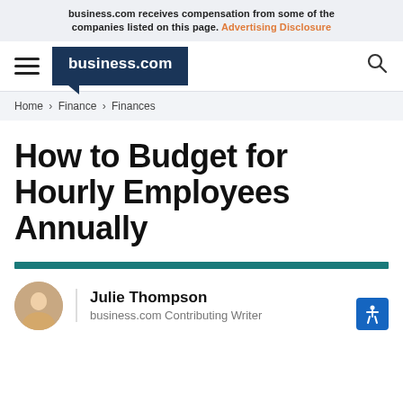business.com receives compensation from some of the companies listed on this page. Advertising Disclosure
[Figure (logo): business.com logo in dark navy speech bubble, hamburger menu icon on left, search icon on right]
Home > Finance > Finances
How to Budget for Hourly Employees Annually
Julie Thompson
business.com Contributing Writer